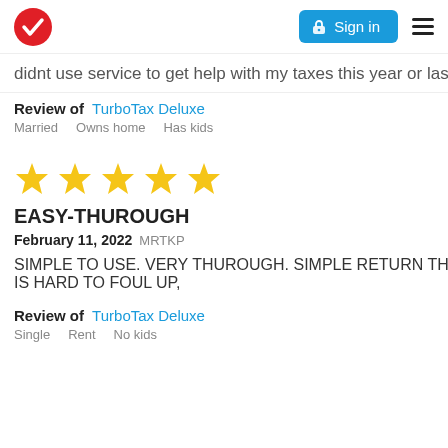Sign in
didnt use service to get help with my taxes this year or last
Review of  TurboTax Deluxe
Married    Owns home    Has kids
[Figure (other): Five yellow star rating icons]
EASY-THUROUGH
February 11, 2022 MRTKP
SIMPLE TO USE. VERY THUROUGH. SIMPLE RETURN THAT IS HARD TO FOUL UP,
Review of  TurboTax Deluxe
Single    Rent    No kids